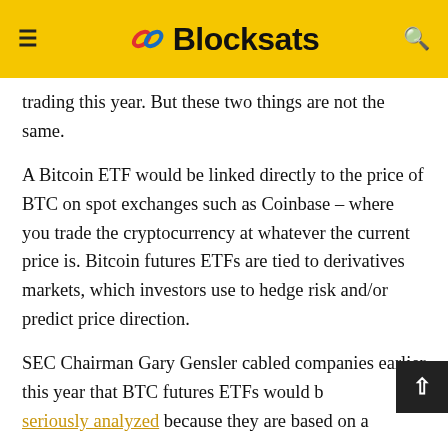Blocksats
trading this year. But these two things are not the same.
A Bitcoin ETF would be linked directly to the price of BTC on spot exchanges such as Coinbase – where you trade the cryptocurrency at whatever the current price is. Bitcoin futures ETFs are tied to derivatives markets, which investors use to hedge risk and/or predict price direction.
SEC Chairman Gary Gensler cabled companies earlier this year that BTC futures ETFs would be seriously analyzed because they are based on a